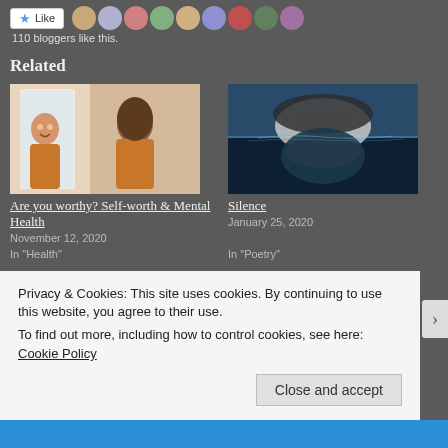[Figure (other): Like button and blogger avatar row with '110 bloggers like this.' text]
110 bloggers like this.
Related
[Figure (photo): Woman looking at her reflection in a mirror, warm tones]
Are you worthy? Self-worth & Mental Health
November 12, 2020
In "Health"
[Figure (photo): Surreal image of a face half-submerged in ocean water like an iceberg]
Silence
January 25, 2020
In "Poetry"
Privacy & Cookies: This site uses cookies. By continuing to use this website, you agree to their use.
To find out more, including how to control cookies, see here: Cookie Policy
Close and accept